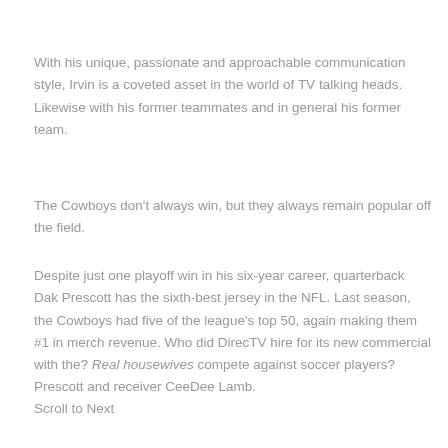With his unique, passionate and approachable communication style, Irvin is a coveted asset in the world of TV talking heads. Likewise with his former teammates and in general his former team.
The Cowboys don't always win, but they always remain popular off the field.
Despite just one playoff win in his six-year career, quarterback Dak Prescott has the sixth-best jersey in the NFL. Last season, the Cowboys had five of the league's top 50, again making them #1 in merch revenue. Who did DirecTV hire for its new commercial with the? Real housewives compete against soccer players? Prescott and receiver CeeDee Lamb.
Scroll to Next